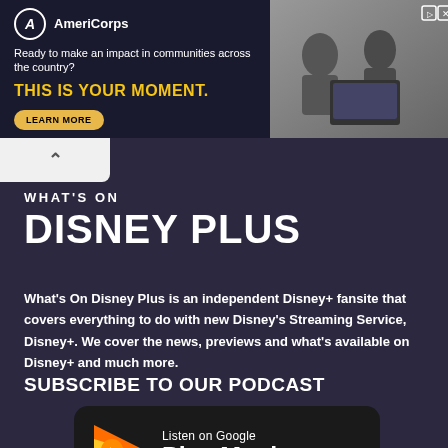[Figure (infographic): AmeriCorps advertisement banner. Logo with 'A' in circle, text 'AmeriCorps', tagline 'Ready to make an impact in communities across the country?', headline 'THIS IS YOUR MOMENT.' with a 'LEARN MORE' button. Right side shows a photo of people working at computers.]
WHAT'S ON DISNEY PLUS
What's On Disney Plus is an independent Disney+ fansite that covers everything to do with new Disney's Streaming Service, Disney+. We cover the news, previews and what's available on Disney+ and much more.
SUBSCRIBE TO OUR PODCAST
[Figure (logo): Listen on Google Play Music badge — black rounded rectangle with Google Play Music logo (orange/yellow triangle play icon with music note) and text 'Listen on Google Play Music']